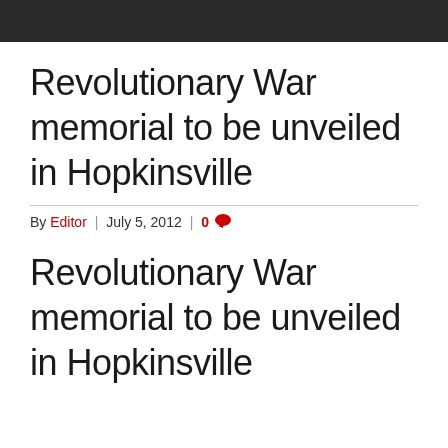Revolutionary War memorial to be unveiled in Hopkinsville
By Editor | July 5, 2012 | 0
Revolutionary War memorial to be unveiled in Hopkinsville